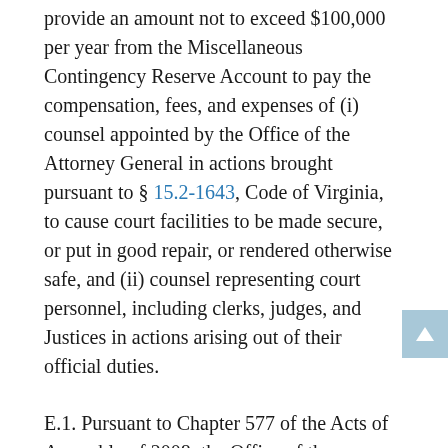provide an amount not to exceed $100,000 per year from the Miscellaneous Contingency Reserve Account to pay the compensation, fees, and expenses of (i) counsel appointed by the Office of the Attorney General in actions brought pursuant to § 15.2-1643, Code of Virginia, to cause court facilities to be made secure, or put in good repair, or rendered otherwise safe, and (ii) counsel representing court personnel, including clerks, judges, and Justices in actions arising out of their official duties.
E.1. Pursuant to Chapter 577 of the Acts of Assembly of 2008, the Office of the Attorney General shall provide legal service in civil matters and consultation and legal advice in suits and other legal actions to soil and water conservation district directors and districts upon the request of those district directors or districts at no charge, inclusive of all fees, expenses, or other costs associated with litigation, excluding the payment of damages